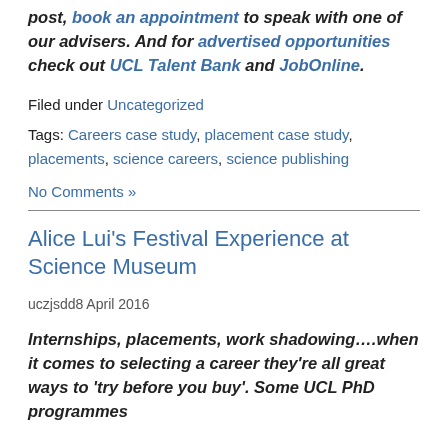post, book an appointment to speak with one of our advisers. And for advertised opportunities check out UCL Talent Bank and JobOnline.
Filed under Uncategorized
Tags: Careers case study, placement case study, placements, science careers, science publishing
No Comments »
Alice Lui's Festival Experience at Science Museum
uczjsdd8 April 2016
Internships, placements, work shadowing….when it comes to selecting a career they're all great ways to 'try before you buy'. Some UCL PhD programmes